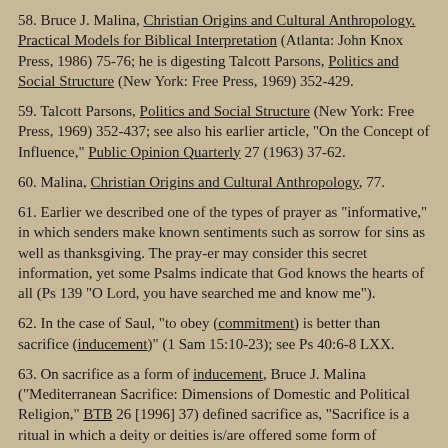58. Bruce J. Malina, Christian Origins and Cultural Anthropology. Practical Models for Biblical Interpretation (Atlanta: John Knox Press, 1986) 75-76; he is digesting Talcott Parsons, Politics and Social Structure (New York: Free Press, 1969) 352-429.
59. Talcott Parsons, Politics and Social Structure (New York: Free Press, 1969) 352-437; see also his earlier article, "On the Concept of Influence," Public Opinion Quarterly 27 (1963) 37-62.
60. Malina, Christian Origins and Cultural Anthropology, 77.
61. Earlier we described one of the types of prayer as "informative," in which senders make known sentiments such as sorrow for sins as well as thanksgiving. The pray-er may consider this secret information, yet some Psalms indicate that God knows the hearts of all (Ps 139 "O Lord, you have searched me and know me").
62. In the case of Saul, "to obey (commitment) is better than sacrifice (inducement)" (1 Sam 15:10-23); see Ps 40:6-8 LXX.
63. On sacrifice as a form of inducement, Bruce J. Malina ("Mediterranean Sacrifice: Dimensions of Domestic and Political Religion," BTB 26 [1996] 37) defined sacrifice as, "Sacrifice is a ritual in which a deity or deities is/are offered some form of inducement, rendered humanly irretrievable, with a view to some